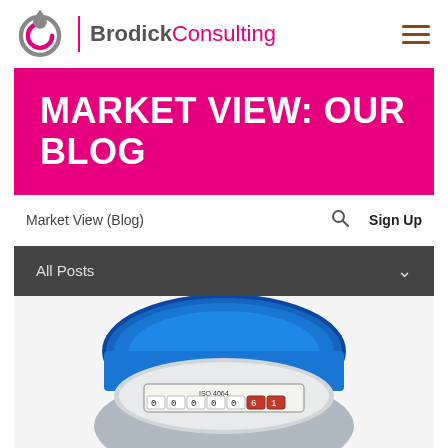[Figure (logo): Brodick Consulting logo with water drop / circular C icon and company name in grey and pink, with pink vertical divider line]
MARKET VIEW: OUR BLOG
Market View (Blog)    🔍    Sign Up
All Posts  ∨
[Figure (photo): Close-up photo of a water meter with blue lid and dial display showing ISO 4064 standard markings]